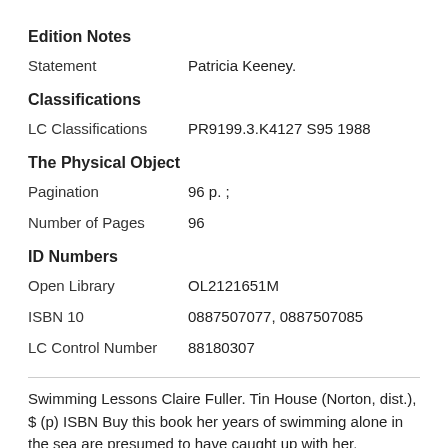Edition Notes
Statement    Patricia Keeney.
Classifications
LC Classifications    PR9199.3.K4127 S95 1988
The Physical Object
Pagination    96 p. ;
Number of Pages    96
ID Numbers
Open Library    OL2121651M
ISBN 10    0887507077, 0887507085
LC Control Number    88180307
Swimming Lessons Claire Fuller. Tin House (Norton, dist.), $ (p) ISBN Buy this book her years of swimming alone in the sea are presumed to have caught up with her. Swimming. An Olympic-size swimming pool with depths ranging from feet (good for the diving board) to large wading area for the smallest of children. Poolside food and beverage